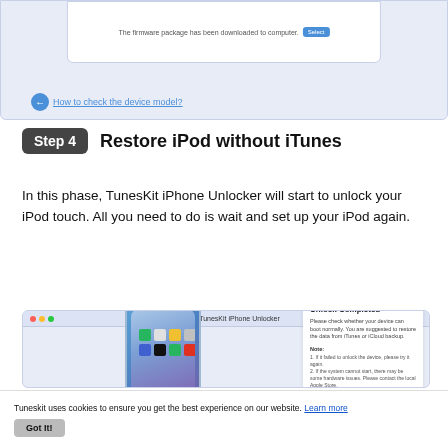[Figure (screenshot): Top portion of TunesKit iPhone Unlocker app screenshot showing firmware downloaded message with a Select button, and a back link 'How to check the device model?']
Step 4   Restore iPod without iTunes
In this phase, TunesKit iPhone Unlocker will start to unlock your iPod touch. All you need to do is wait and set up your iPod again.
[Figure (screenshot): TunesKit iPhone Unlocker app window showing a phone illustration on the left and an 'Unlock Completed' dialog on the right with a Done button. The dialog reads: Please check whether your device can boot normally. You are suggested to restore the data from iTunes or iCloud backup. Note: 1. If it failed to unlock the device, please try it again. 2. If the system cannot start, there may be some hardware issues. Please contact the local Apple Store.]
Tuneskit uses cookies to ensure you get the best experience on our website. Learn more
Got It!